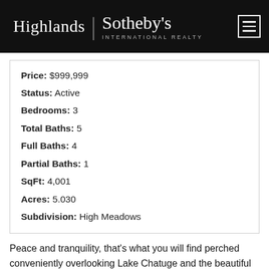Highlands | Sotheby's INTERNATIONAL REALTY
| Price: | $999,999 |
| Status: | Active |
| Bedrooms: | 3 |
| Total Baths: | 5 |
| Full Baths: | 4 |
| Partial Baths: | 1 |
| SqFt: | 4,001 |
| Acres: | 5.030 |
| Subdivision: | High Meadows |
Peace and tranquility, that's what you will find perched conveniently overlooking Lake Chatuge and the beautiful Nantahala mountains. Perfectly situated on over 5 acres of beautifully landscaped...
Photo Gallery (75)